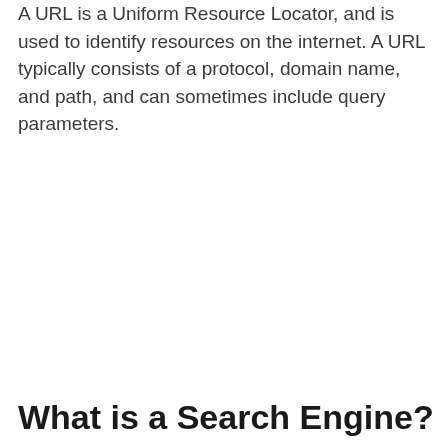A URL is a Uniform Resource Locator, and is used to identify resources on the internet. A URL typically consists of a protocol, domain name, and path, and can sometimes include query parameters.
What is a Search Engine?